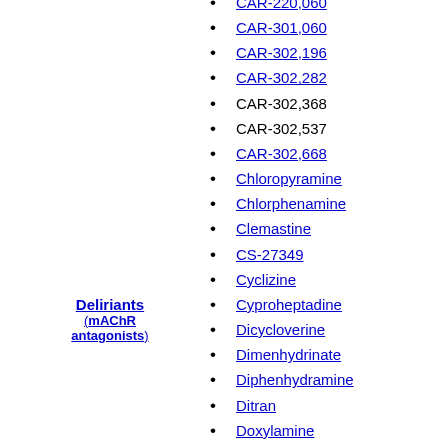Deliriants (mAChR antagonists)
CAR-220,060
CAR-301,060
CAR-302,196
CAR-302,282
CAR-302,368
CAR-302,537
CAR-302,668
Chloropyramine
Chlorphenamine
Clemastine
CS-27349
Cyclizine
Cyproheptadine
Dicycloverine
Dimenhydrinate
Diphenhydramine
Ditran
Doxylamine
EA-3167
EA-3443
EA-3580
EA-3834
Elemicin
Flavoxate
Hyoscyamine
JB-318